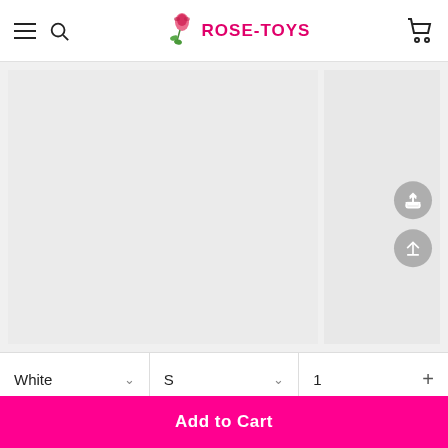Rose-Toys navigation bar with hamburger menu, search icon, Rose-Toys logo, and cart icon
[Figure (screenshot): Product image area showing two light gray placeholder panels side by side. The right panel has two circular gray icon buttons (share and upload/scroll-to-top).]
White
S
1
Add to Cart